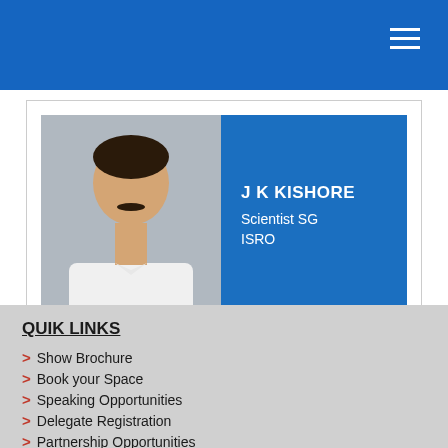[Figure (photo): Profile card showing a man in white shirt with text: J K KISHORE, Scientist SG, ISRO on a blue background]
QUIK LINKS
> Show Brochure
> Book your Space
> Speaking Opportunities
> Delegate Registration
> Partnership Opportunities
> Request a Call Back